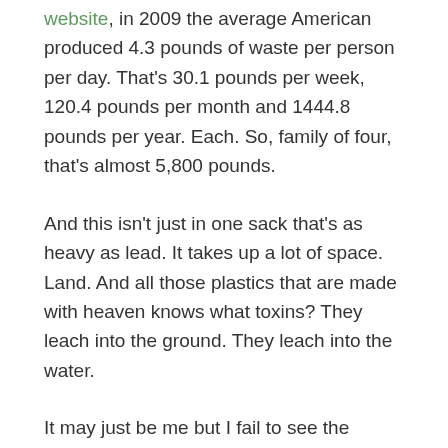website, in 2009 the average American produced 4.3 pounds of waste per person per day. That's 30.1 pounds per week, 120.4 pounds per month and 1444.8 pounds per year. Each. So, family of four, that's almost 5,800 pounds.
And this isn't just in one sack that's as heavy as lead. It takes up a lot of space. Land. And all those plastics that are made with heaven knows what toxins? They leach into the ground. They leach into the water.
It may just be me but I fail to see the “ease” and “convenience” in this.
I also fail to see how this is representative of the loving